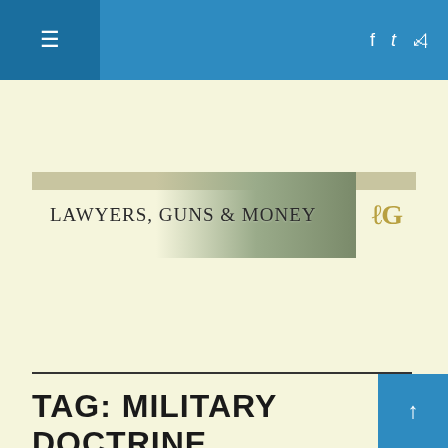≡  [Navigation bar with hamburger menu, Facebook, Twitter, RSS icons]
[Figure (logo): Lawyers, Guns & Money blog banner with decorative figures and LGM logo]
TAG: MILITARY DOCTRINE